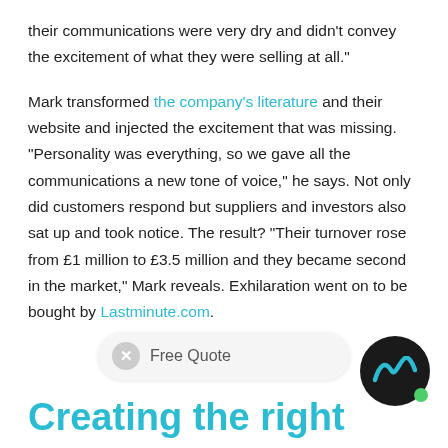their communications were very dry and didn't convey the excitement of what they were selling at all."

Mark transformed the company's literature and their website and injected the excitement that was missing. "Personality was everything, so we gave all the communications a new tone of voice," he says. Not only did customers respond but suppliers and investors also sat up and took notice. The result? "Their turnover rose from £1 million to £3.5 million and they became second in the market," Mark reveals. Exhilaration went on to be bought by Lastminute.com.
[Figure (other): Free Quote call-to-action bar with close button and SW logo circle badge]
Creating the right